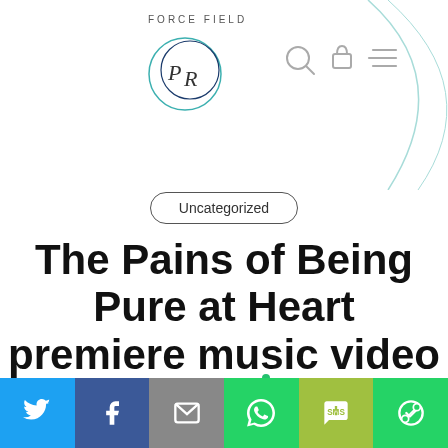FORCE FIELD
[Figure (logo): Force Field PR logo: two overlapping circles with letters P and R inside]
[Figure (illustration): Decorative teal arc in upper right corner; navigation icons: search, lock, menu]
Uncategorized
The Pains of Being Pure at Heart premiere music video for “Say No To…
[Figure (infographic): Social sharing bar: Twitter (blue), Facebook (dark blue), Email (grey), WhatsApp (green), SMS (yellow-green), More (green) buttons with white icons]